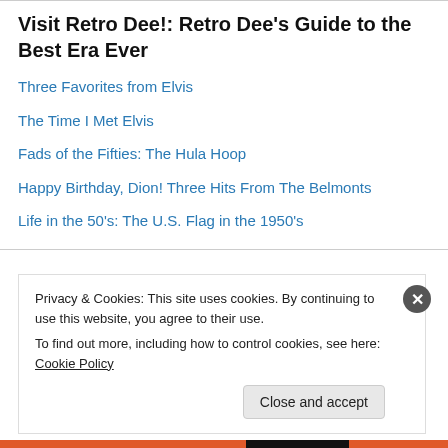Visit Retro Dee!: Retro Dee's Guide to the Best Era Ever
Three Favorites from Elvis
The Time I Met Elvis
Fads of the Fifties: The Hula Hoop
Happy Birthday, Dion! Three Hits From The Belmonts
Life in the 50's: The U.S. Flag in the 1950's
Privacy & Cookies: This site uses cookies. By continuing to use this website, you agree to their use. To find out more, including how to control cookies, see here: Cookie Policy
Close and accept